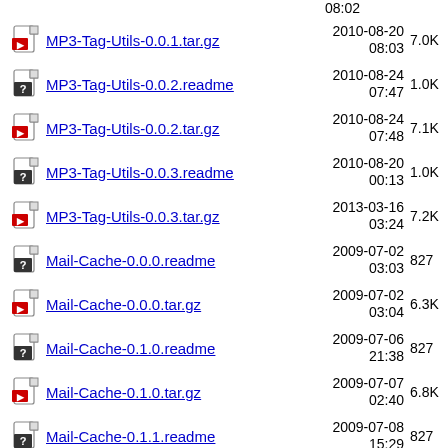MP3-Tag-Utils-0.0.1.tar.gz  2010-08-20 08:03  7.0K
MP3-Tag-Utils-0.0.2.readme  2010-08-24 07:47  1.0K
MP3-Tag-Utils-0.0.2.tar.gz  2010-08-24 07:48  7.1K
MP3-Tag-Utils-0.0.3.readme  2010-08-20 00:13  1.0K
MP3-Tag-Utils-0.0.3.tar.gz  2013-03-16 03:24  7.2K
Mail-Cache-0.0.0.readme  2009-07-02 03:03  827
Mail-Cache-0.0.0.tar.gz  2009-07-02 03:04  6.3K
Mail-Cache-0.1.0.readme  2009-07-06 21:38  827
Mail-Cache-0.1.0.tar.gz  2009-07-07 02:40  6.8K
Mail-Cache-0.1.1.readme  2009-07-08 15:29  827
Mail-Cache-0.1.1.tar.gz  2009-07-08 20:32  6.8K